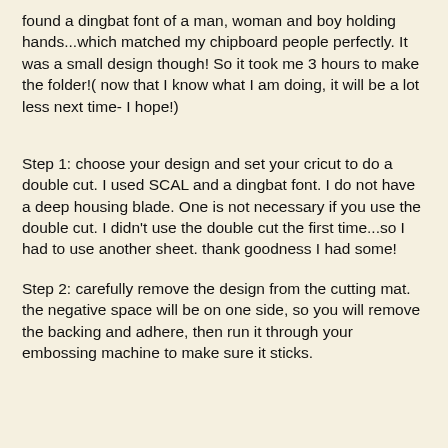found a dingbat font of a man, woman and boy holding hands...which matched my chipboard people perfectly. It was a small design though! So it took me 3 hours to make the folder!( now that I know what I am doing, it will be a lot less next time- I hope!)
Step 1: choose your design and set your cricut to do a double cut. I used SCAL and a dingbat font. I do not have a deep housing blade. One is not necessary if you use the double cut. I didn't use the double cut the first time...so I had to use another sheet. thank goodness I had some!
Step 2: carefully remove the design from the cutting mat. the negative space will be on one side, so you will remove the backing and adhere, then run it through your embossing machine to make sure it sticks.